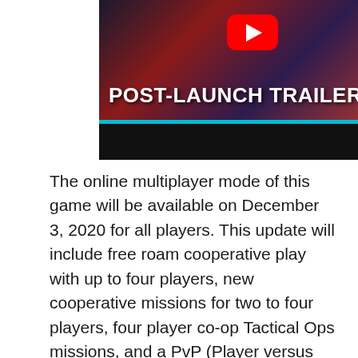[Figure (screenshot): YouTube video thumbnail showing 'POST-LAUNCH TRAILER' text in white bold letters on a dark cinematic background with a YouTube play button icon at the top center and a teal bar below the image area.]
The online multiplayer mode of this game will be available on December 3, 2020 for all players. This update will include free roam cooperative play with up to four players, new cooperative missions for two to four players, four player co-op Tactical Ops missions, and a PvP (Player versus Player) mode with four to eight players.
A future update in 2021 will include new characters with new abilities, new mission